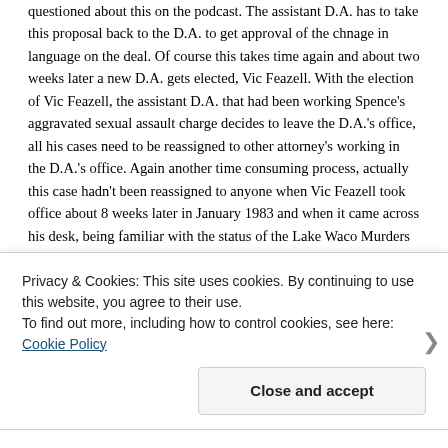questioned about this on the podcast. The assistant D.A. has to take this proposal back to the D.A. to get approval of the chnage in language on the deal. Of course this takes time again and about two weeks later a new D.A. gets elected, Vic Feazell. With the election of Vic Feazell, the assistant D.A. that had been working Spence's aggravated sexual assault charge decides to leave the D.A.'s office, all his cases need to be reassigned to other attorney's working in the D.A.'s office. Again another time consuming process, actually this case hadn't been reassigned to anyone when Vic Feazell took office about 8 weeks later in January 1983 and when it came across his desk, being familiar with the status of the Lake Waco Murders investigation, decided Spence had declined the plea deal offered and no deal existed now and
Privacy & Cookies: This site uses cookies. By continuing to use this website, you agree to their use.
To find out more, including how to control cookies, see here: Cookie Policy